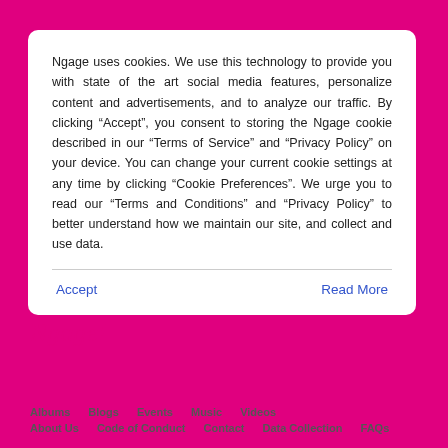Ngage uses cookies. We use this technology to provide you with state of the art social media features, personalize content and advertisements, and to analyze our traffic. By clicking “Accept”, you consent to storing the Ngage cookie described in our “Terms of Service” and “Privacy Policy” on your device. You can change your current cookie settings at any time by clicking “Cookie Preferences”. We urge you to read our “Terms and Conditions” and “Privacy Policy” to better understand how we maintain our site, and collect and use data.
Accept
Read More
Ngage!
Albums  Blogs  Events  Music  Videos  About Us  Code of Conduct  Contact  Data Collection  FAQs